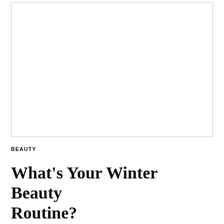[Figure (photo): Blank white image placeholder with a light gray border]
BEAUTY
What's Your Winter Beauty Routine?